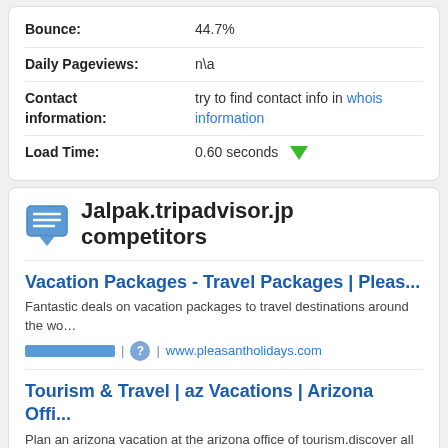Bounce: 44.7%
Daily Pageviews: n\a
Contact information: try to find contact info in whois information
Load Time: 0.60 seconds
Jalpak.tripadvisor.jp competitors
Vacation Packages - Travel Packages | Pleas...
Fantastic deals on vacation packages to travel destinations around the wo…
www.pleasantholidays.com
Tourism & Travel | az Vacations | Arizona Offi...
Plan an arizona vacation at the arizona office of tourism.discover all the w…
flytoarizona.com
Last Minute Travel Deals – Find Cheap Deals …
Find last minute travel deals now! bargains selected from top sites, airline…